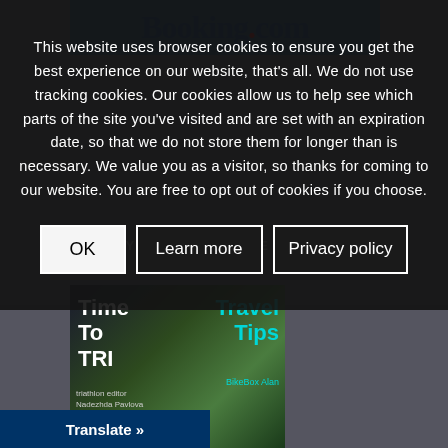[Figure (screenshot): Screenshot of a website (Booking.com / Lifecycle eMagazine) partially visible behind a cookie consent overlay. Background shows a cycling/triathlon magazine thumbnail with 'Time To TRI' and 'Travel Tips' text, and a person in cycling gear.]
This website uses browser cookies to ensure you get the best experience on our website, that's all. We do not use tracking cookies. Our cookies allow us to help see which parts of the site you've visited and are set with an expiration date, so that we do not store them for longer than is necessary. We value you as a visitor, so thanks for coming to our website. You are free to opt out of cookies if you choose.
OK
Learn more
Privacy policy
Translate »